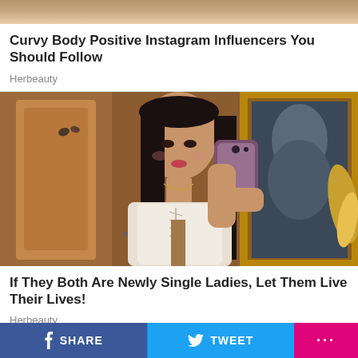[Figure (photo): Partial top image, cropped, showing warm tones]
Curvy Body Positive Instagram Influencers You Should Follow
Herbeauty
[Figure (photo): Young woman with long black hair taking a mirror selfie, wearing a white corset-style top, with a gold-framed mirror behind her showing decorative artwork]
If They Both Are Newly Single Ladies, Let Them Live Their Lives!
Herbeauty
SHARE   TWEET   ...